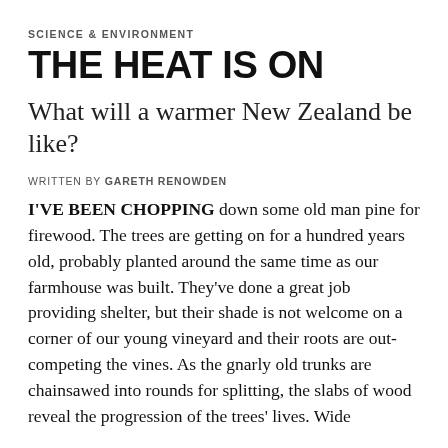SCIENCE & ENVIRONMENT
THE HEAT IS ON
What will a warmer New Zealand be like?
WRITTEN BY GARETH RENOWDEN
I'VE BEEN CHOPPING down some old man pine for firewood. The trees are getting on for a hundred years old, probably planted around the same time as our farmhouse was built. They've done a great job providing shelter, but their shade is not welcome on a corner of our young vineyard and their roots are out-competing the vines. As the gnarly old trunks are chainsawed into rounds for splitting, the slabs of wood reveal the progression of the trees' lives. Wide